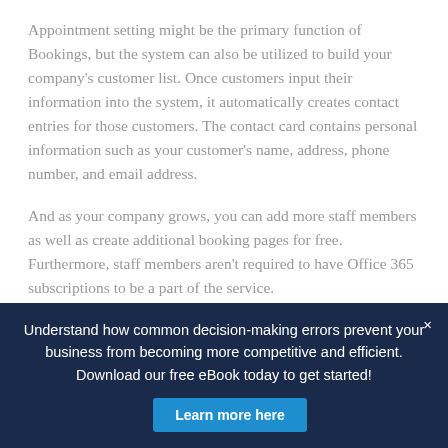Appointment setting might be the primary function of Bookings, but the system can also be utilized to build your company's customer list. Once customers input their information into the system, it automatically creates contact entries for those customers. The contact card contains personal information such as your customer's name, address, phone number, and email address.
And as your company grows, you can add more staff members as well as create additional booking pages for free. Furthermore, staff members aren't required to have Office 365 subscriptions to be a part of the service.
Understand how common decision-making errors prevent your business from becoming more competitive and efficient. Download our free eBook today to get started!
Learn more here